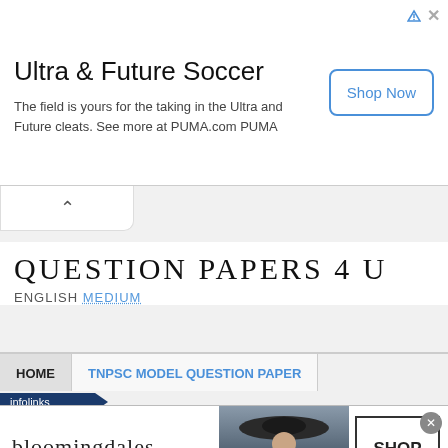[Figure (other): PUMA Ultra & Future Soccer advertisement banner with Shop Now button]
QUESTION PAPERS 4 U
ENGLISH MEDIUM
HOME | TNPSC MODEL QUESTION PAPER
[Figure (other): Bloomingdales advertisement banner with woman in hat, Shop Now button, View Today's Top Deals text]